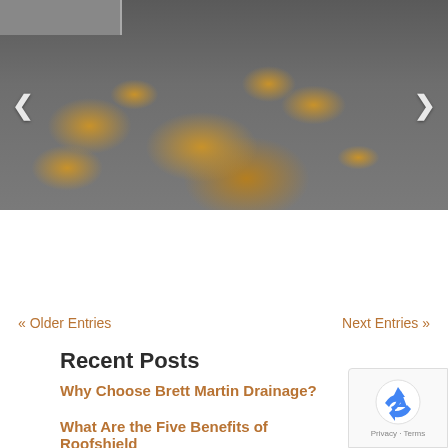[Figure (photo): Outdoor photo of a driveway or parking area with asphalt surface showing tree shadow patterns (dappled light through leaves) in warm golden tones. A dark car is partially visible in the upper left. Navigation arrows (< >) are overlaid on left and right sides. Slideshow indicator dots appear below the image.]
« Older Entries
Next Entries »
Recent Posts
Why Choose Brett Martin Drainage?
What Are the Five Benefits of Roofshield